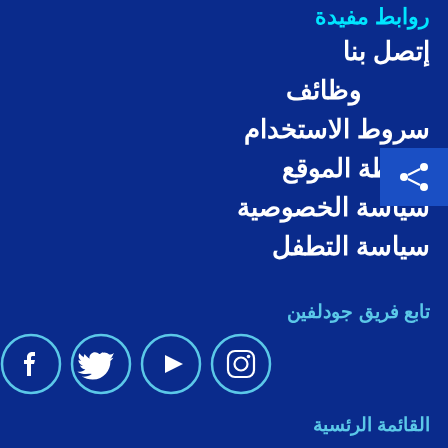روابط مفيدة
إتصل بنا
وظائف
سروط الاستخدام
خريطة الموقع
سياسة الخصوصية
سياسة التطفل
تابع فريق جودلفين
[Figure (other): Social media icons: Instagram, YouTube, Twitter, Facebook in cyan outlined circles]
القائمة الرئسية